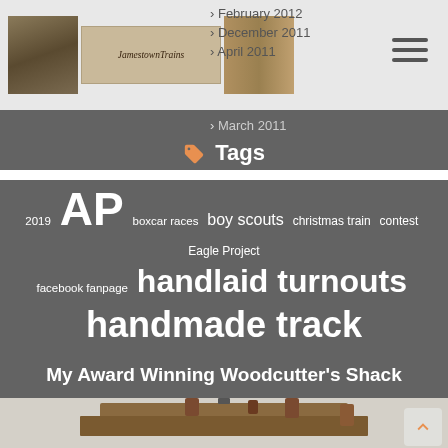Jamestown Trains website header with logo images
February 2012
December 2011
April 2011
March 2011
Tags
2019 AP boxcar races boy scouts christmas train contest Eagle Project facebook fanpage handlaid turnouts handmade track Handmaid Turnouts live steam Master Model Railroader merit badge MMR model railroad model trains Motive Power narrow gauge Newsletter NMRA social media traditions Train Layout trains train show
My Award Winning Woodcutter's Shack
[Figure (photo): Photo of a model woodcutter's shack building with chimney pipes and wooden roof, in a gray/winter scene]